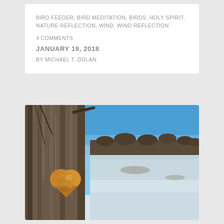BIRD FEEDER, BIRD MEDITATION, BIRDS, HOLY SPIRIT, NATURE REFLECTION, WIND, WIND REFLECTION
4 COMMENTS
JANUARY 19, 2018
BY MICHAEL T. DOLAN
[Figure (photo): A close-up photo of a tree trunk with a heart-shaped fungus or wood growth on it, with a winter landscape in the background showing a frozen or snowy field, bare trees, and a clear blue sky.]